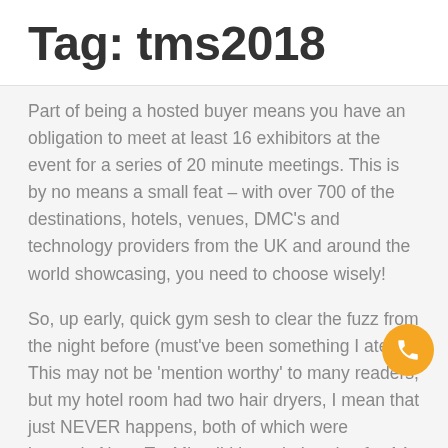Tag: tms2018
Part of being a hosted buyer means you have an obligation to meet at least 16 exhibitors at the event for a series of 20 minute meetings. This is by no means a small feat – with over 700 of the destinations, hotels, venues, DMC's and technology providers from the UK and around the world showcasing, you need to choose wisely!
So, up early, quick gym sesh to clear the fuzz from the night before (must've been something I ate...). This may not be 'mention worthy' to many readers, but my hotel room had two hair dryers, I mean that just NEVER happens, both of which were located...Next. To. Mir... I'd been in London for 14 hours and I was already starting to feel like I might move here – I was in some kind of wine me, dine me, hair drying paradise.
Bacon sandwich to-go from the too-much-to-choose-